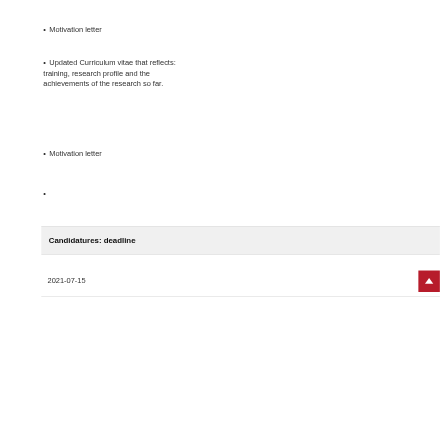• Motivation letter
• Updated Curriculum vitae that reflects: training, research profile and the achievements of the research so far.
• Motivation letter
•
Candidatures: deadline
2021-07-15